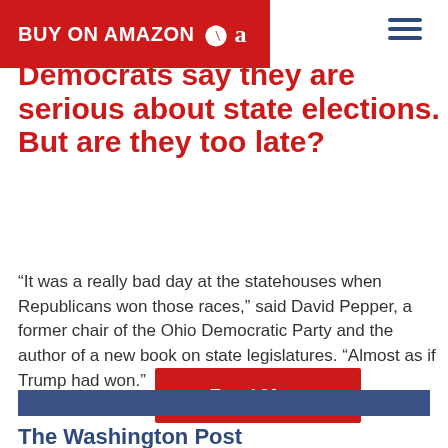BUY ON AMAZON
Democrats say they are serious about state elections. But are they too late?
“It was a really bad day at the statehouses when Republicans won those races,” said David Pepper, a former chair of the Ohio Democratic Party and the author of a new book on state legislatures. “Almost as if Trump had won.”
Read More
The Washington Post